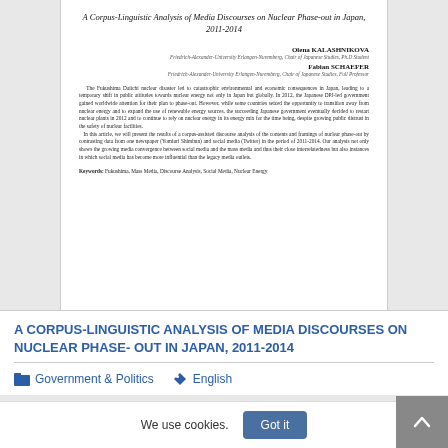A Corpus-Linguistic Analysis of Media Discourses on Nuclear Phase-out in Japan, 2011-2014
Olena KALASHNIKOVA
Friedrich-Alexander-University Erlangen-Nuremberg, Chair of Japanese Studies, Ph.D Student
Fabian SCHAEFER
Friedrich-Alexander-University Erlangen-Nuremberg, Chair of Japanese Studies, Full Professor
The Fukushima Daiichi nuclear disaster led to catastrophic environmental and economic consequences in Japan, leading to a temporary shift in public attitudes towards nuclear energy not only in Japan but globally. In 2012, the Japanese DPJ-led government gained worldwide attention for their plan to phase-out. However, while some countries seized the opportunity to transition away from nuclear energy and to expand the use of renewable energy sources, the succeeding Japanese government eventually decided to restart nuclear plants in 2012 and to continue to rely on nuclear energy in its energy mix for the time being, despite growing public distrust in the safety of nuclear facilities.
In this article, we will present the results of a corpus-assisted discourse analysis of the contents and framings of nuclear phase-out by contrasting data from one newspaper (Yomiuri Shimbun) and social media (Twitter) in the period of 2011-2014. Our analysis not only shows the growing media convergence between social media and the mass media and thus their close interrelatedness but also instances in which social media has become more influential than the legacy media outlets.
Keywords: Fukushima, Mass Media, Discourse Analysis, Social Media, Nuclear Energy
A CORPUS-LINGUISTIC ANALYSIS OF MEDIA DISCOURSES ON NUCLEAR PHASE- OUT IN JAPAN, 2011-2014
Government & Politics
English
We use cookies.